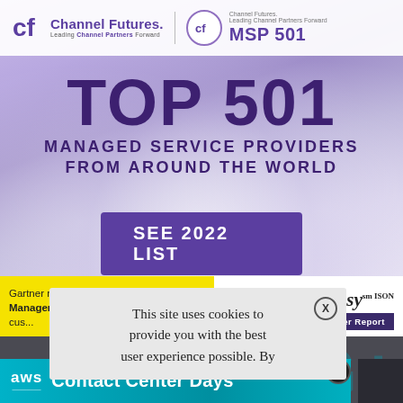[Figure (screenshot): Channel Futures MSP 501 award banner with purple cloud background. Shows TOP 501 MANAGED SERVICE PROVIDERS FROM AROUND THE WORLD with a SEE 2022 LIST button. Below is a yellow Gartner ad strip and a cookie consent popup. Bottom has an AWS Contact Center Days advertisement bar.]
TOP 501
MANAGED SERVICE PROVIDERS FROM AROUND THE WORLD
SEE 2022 LIST
Gartner recommends Knowledge Management as the #1 technology for cus...
This site uses cookies to provide you with the best user experience possible. By
Contact Center Days